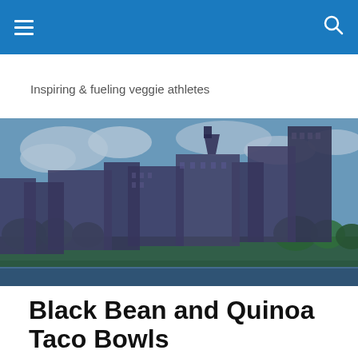☰  🔍
Inspiring & fueling veggie athletes
[Figure (photo): City skyline photograph showing tall urban buildings with a cloudy sky, trees in the foreground, and a waterfront. Tinted with a cool blue-purple color grade.]
Black Bean and Quinoa Taco Bowls
Something about this dish that makes it...